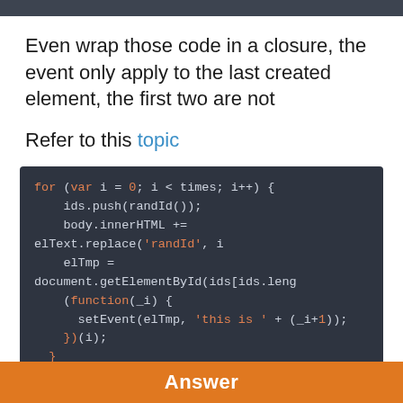Even wrap those code in a closure, the event only apply to the last created element, the first two are not
Refer to this topic
[Figure (screenshot): Dark-themed code block showing a JavaScript for loop with closure pattern using ids.push(randId()), body.innerHTML, document.getElementById, (function(_i) { setEvent(elTmp, 'this is ' + (_i+1)); })(i);]
Answer